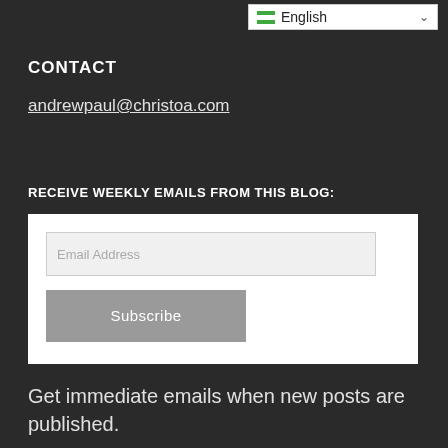[Figure (screenshot): Language selector dropdown showing 'en English' with dropdown arrow, white background]
CONTACT
andrewpaul@christoa.com
RECEIVE WEEKLY EMAILS FROM THIS BLOG:
[Figure (screenshot): Email subscription form with an email address input field and a Subscribe button]
Get immediate emails when new posts are published.